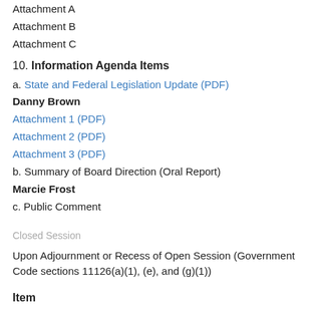Attachment A
Attachment B
Attachment C
10. Information Agenda Items
a. State and Federal Legislation Update (PDF)
Danny Brown
Attachment 1 (PDF)
Attachment 2 (PDF)
Attachment 3 (PDF)
b. Summary of Board Direction (Oral Report)
Marcie Frost
c. Public Comment
Closed Session
Upon Adjournment or Recess of Open Session (Government Code sections 11126(a)(1), (e), and (g)(1))
Item